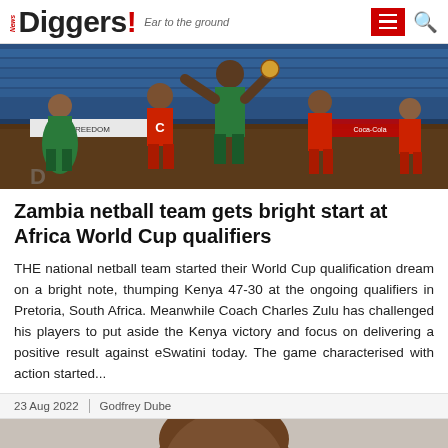News Diggers! Ear to the ground
[Figure (photo): Netball players in action during a match. Players wearing red and green uniforms competing on an indoor court with blue seats in the background.]
Zambia netball team gets bright start at Africa World Cup qualifiers
THE national netball team started their World Cup qualification dream on a bright note, thumping Kenya 47-30 at the ongoing qualifiers in Pretoria, South Africa. Meanwhile Coach Charles Zulu has challenged his players to put aside the Kenya victory and focus on delivering a positive result against eSwatini today. The game characterised with action started...
23 Aug 2022 | Godfrey Dube
[Figure (photo): Close-up photo of a man wearing glasses, dark skin, looking directly at the camera against a light grey background.]